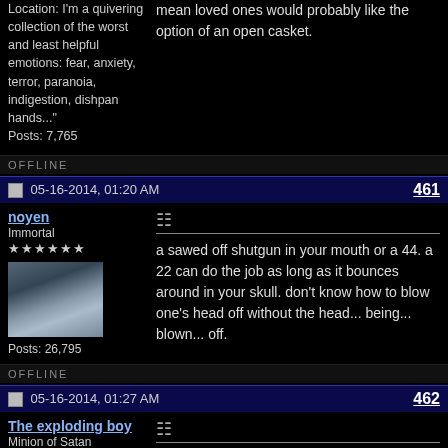Location: I'm a quivering collection of the worst and least helpful emotions: fear, anxiety, terror, paranoia, indigestion, dishpan hands...
Posts: 7,765
mean loved ones would probably like the option of an open casket.
OFFLINE
05-16-2014, 01:20 AM  461
noyen
Immortal
★★★★★★
Posts: 26,795
a sawed off shutgun in your mouth or a 44. a 22 can do the job as long as it bounces around in your skull. don't know how to blow one's head off without the head... being... blown... off.
OFFLINE
05-16-2014, 01:27 AM  462
The exploding boy
Minion of Satan
★★★★★
Well i didn't mean that literally.